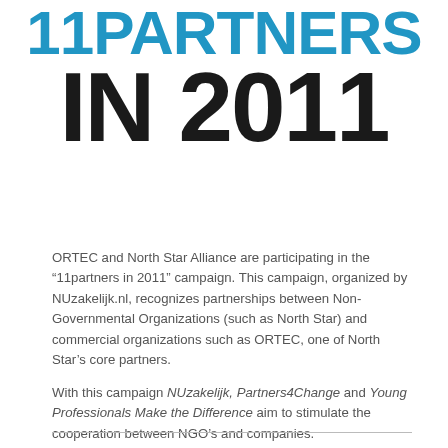11PARTNERS IN 2011
ORTEC and North Star Alliance are participating in the “11partners in 2011” campaign. This campaign, organized by NUzakelijk.nl, recognizes partnerships between Non-Governmental Organizations (such as North Star) and commercial organizations such as ORTEC, one of North Star’s core partners.
With this campaign NUzakelijk, Partners4Change and Young Professionals Make the Difference aim to stimulate the cooperation between NGO’s and companies.